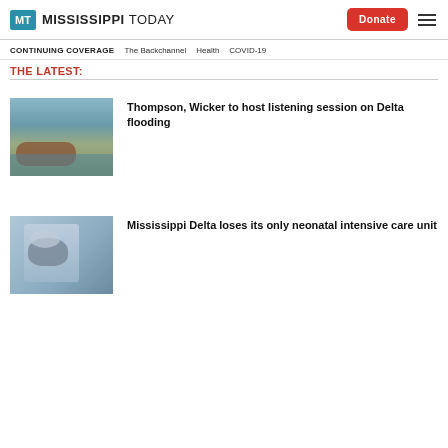MISSISSIPPI TODAY
CONTINUING COVERAGE  The Backchannel  Health  COVID-19
THE LATEST:
[Figure (photo): Flooded area with a rusted tank or barrel partially submerged in brown floodwater, with green vegetation and gray sky in background]
Thompson, Wicker to host listening session on Delta flooding
[Figure (photo): Person wearing a blue face mask and blue patterned shirt, appearing to be in a medical or clinical setting]
Mississippi Delta loses its only neonatal intensive care unit